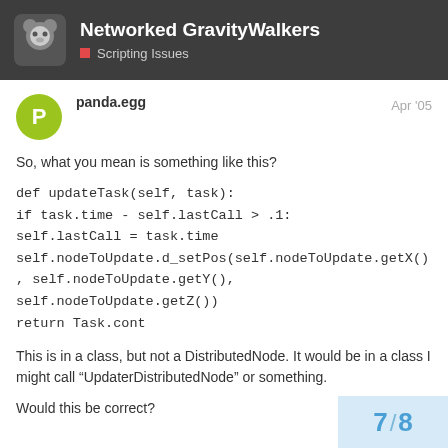Networked GravityWalkers — Scripting Issues
panda.egg — Apr '05
So, what you mean is something like this?
def updateTask(self, task):
if task.time - self.lastCall > .1:
self.lastCall = task.time
self.nodeToUpdate.d_setPos(self.nodeToUpdate.getX(), self.nodeToUpdate.getY(), self.nodeToUpdate.getZ())
return Task.cont
This is in a class, but not a DistributedNode. It would be in a class I might call “UpdaterDistributedNode” or something.
Would this be correct?
7 / 8